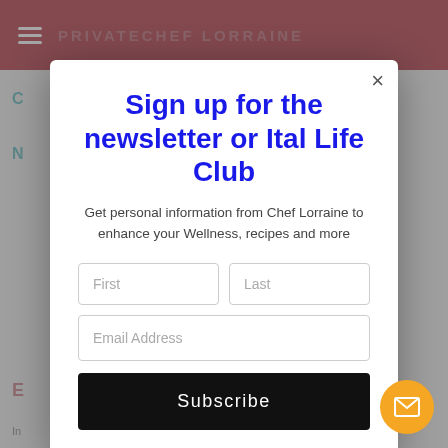[Figure (screenshot): Website background showing pink header bar with hamburger menu and 'PRIVATECHEF LORRAINE' site title, and gray content area below with partially visible navigation links]
Sign up for the newsletter or Ital Life Club
Get personal information from Chef Lorraine to enhance your Wellness, recipes and more
First | Last (form fields)
Email Address (form field)
Subscribe (button)